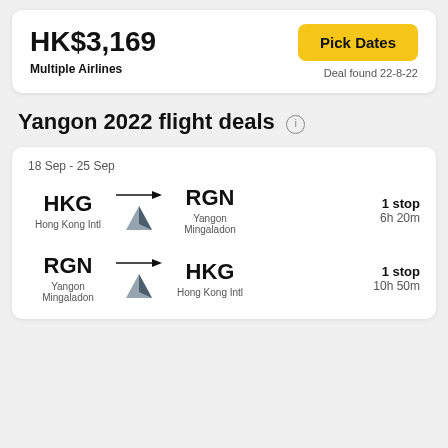HK$3,169
Multiple Airlines
Pick Dates
Deal found 22-8-22
Yangon 2022 flight deals
18 Sep - 25 Sep
HKG → RGN
Hong Kong Intl → Yangon Mingaladon
1 stop
6h 20m
RGN → HKG
Yangon Mingaladon → Hong Kong Intl
1 stop
10h 50m